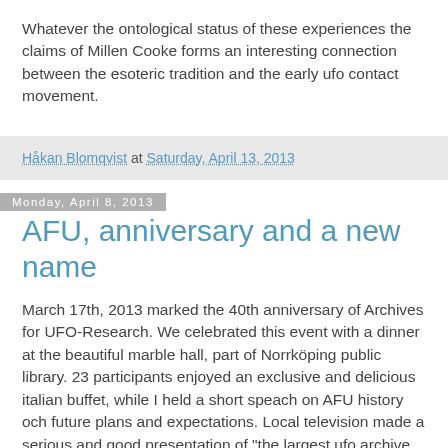Whatever the ontological status of these experiences the claims of Millen Cooke forms an interesting connection between the esoteric tradition and the early ufo contact movement.
Håkan Blomqvist at Saturday, April 13, 2013
Monday, April 8, 2013
AFU, anniversary and a new name
March 17th, 2013 marked the 40th anniversary of Archives for UFO-Research. We celebrated this event with a dinner at the beautiful marble hall, part of Norrköping public library. 23 participants enjoyed an exclusive and delicious italian buffet, while I held a short speach on AFU history och future plans and expectations. Local television made a serious and good presentation of "the largest ufo archive in the world".